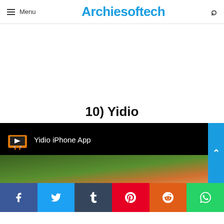Menu | Archiesoftech
[Figure (other): White advertisement area placeholder]
10) Yidio
[Figure (screenshot): YouTube-style video embed showing 'Yidio iPhone App' with a TV-shaped play button icon on a black background. Below the title bar is a partial video preview frame.]
[Figure (other): Social share bar with icons for Facebook, Twitter, Tumblr, Pinterest, Reddit, WhatsApp]